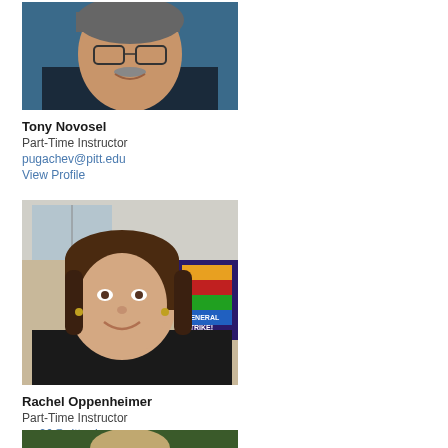[Figure (photo): Headshot photo of Tony Novosel, a man with gray hair, glasses, and a mustache, smiling against a blue background]
Tony Novosel
Part-Time Instructor
pugachev@pitt.edu
View Profile
[Figure (photo): Headshot photo of Rachel Oppenheimer, a woman with long brown hair, smiling, in an office setting with a colorful poster visible]
Rachel Oppenheimer
Part-Time Instructor
rao26@pitt.edu
View Profile
[Figure (photo): Partial headshot of a third faculty member, cropped at the bottom of the page]